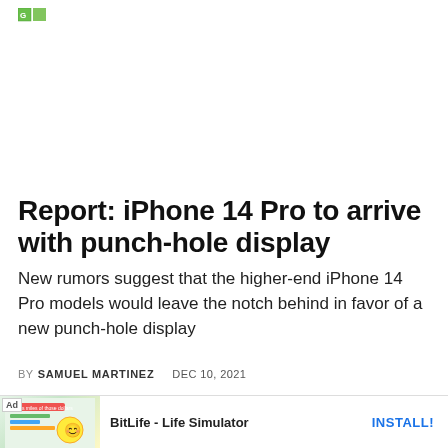[Figure (logo): Small green logo icon in top left corner]
Report: iPhone 14 Pro to arrive with punch-hole display
New rumors suggest that the higher-end iPhone 14 Pro models would leave the notch behind in favor of a new punch-hole display
BY SAMUEL MARTINEZ   DEC 10, 2021
[Figure (screenshot): Advertisement banner for BitLife - Life Simulator app with Ad badge, small app screenshot thumbnail, app name, and INSTALL button]